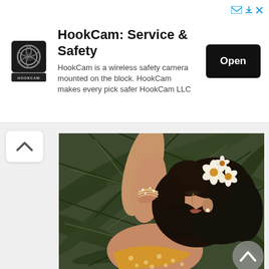[Figure (infographic): HookCam advertisement banner with logo, title 'HookCam: Service & Safety', description text, and 'Open' button. Also contains close/share icons top right. Logo is a circular camera lens icon on dark background with HOOKCAM text below.]
[Figure (photo): A woman with dark curly hair lying among tropical palm leaves. She is wearing a yellow/mustard polka dot top and has white/yellow flowers in her hair. Her eyes are closed. A sparkly bracelet is visible on her wrist.]